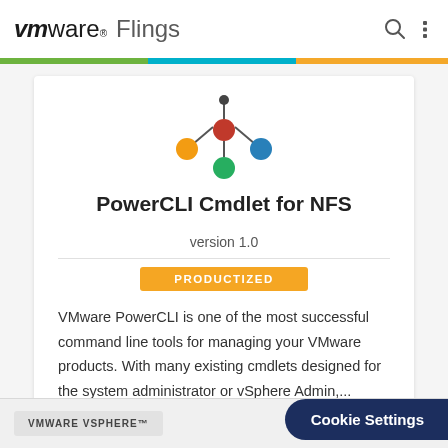vmware Flings
[Figure (logo): Network/cluster icon with colored spheres connected by lines: orange, red (center), blue, green]
PowerCLI Cmdlet for NFS
version 1.0
PRODUCTIZED
VMware PowerCLI is one of the most successful command line tools for managing your VMware products. With many existing cmdlets designed for the system administrator or vSphere Admin,...
VMWARE VSPHERE™
Cookie Settings